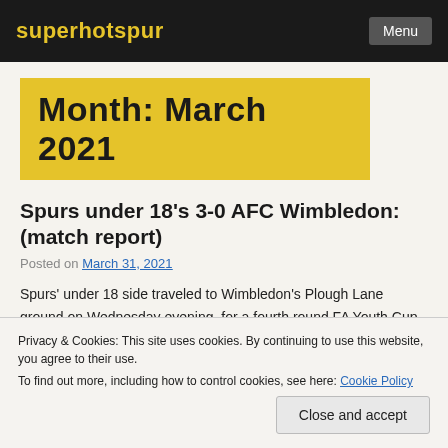superhotspur | Menu
Month: March 2021
Spurs under 18's 3-0 AFC Wimbledon: (match report)
Posted on March 31, 2021
Spurs' under 18 side traveled to Wimbledon's Plough Lane ground on Wednesday evening, for a fourth round FA Youth Cup tie. Matt Taylor's Spurs side were frustrated by AFC Wimbledon's strong defence for large parts of the match, and while Wimbledon came
Privacy & Cookies: This site uses cookies. By continuing to use this website, you agree to their use.
To find out more, including how to control cookies, see here: Cookie Policy
Close and accept